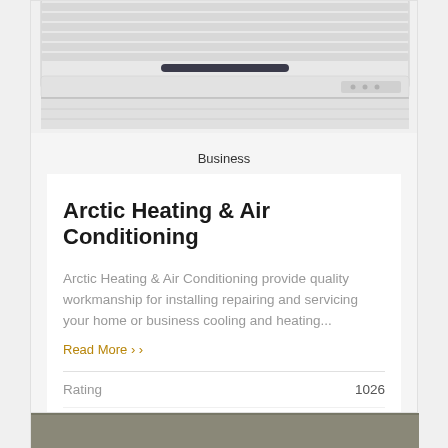[Figure (photo): Top portion of a white wall-mounted air conditioning unit against a white background, showing the horizontal slats and bottom vents.]
Business
Arctic Heating & Air Conditioning
Arctic Heating & Air Conditioning provide quality workmanship for installing repairing and servicing your home or business cooling and heating...
Read More ›
Rating	1026
Views
[Figure (photo): Bottom portion of another listing card showing a grayish-brown surface, partially visible.]